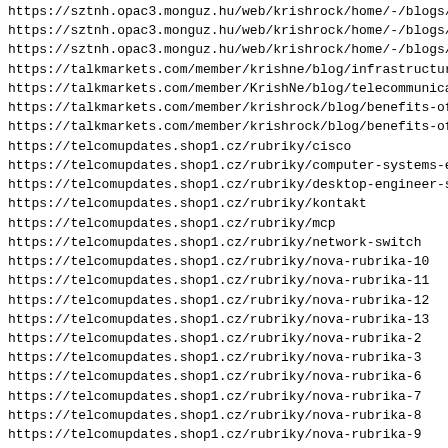https://sztnh.opac3.monguz.hu/web/krishrock/home/-/blogs/wh
https://sztnh.opac3.monguz.hu/web/krishrock/home/-/blogs/wh
https://sztnh.opac3.monguz.hu/web/krishrock/home/-/blogs/wh
https://talkmarkets.com/member/krishne/blog/infrastructure-
https://talkmarkets.com/member/KrishNe/blog/telecommunicati
https://talkmarkets.com/member/krishrock/blog/benefits-of-c
https://talkmarkets.com/member/krishrock/blog/benefits-of-s
https://telcomupdates.shop1.cz/rubriky/cisco
https://telcomupdates.shop1.cz/rubriky/computer-systems-eng
https://telcomupdates.shop1.cz/rubriky/desktop-engineer-sal
https://telcomupdates.shop1.cz/rubriky/kontakt
https://telcomupdates.shop1.cz/rubriky/mcp
https://telcomupdates.shop1.cz/rubriky/network-switch
https://telcomupdates.shop1.cz/rubriky/nova-rubrika-10
https://telcomupdates.shop1.cz/rubriky/nova-rubrika-11
https://telcomupdates.shop1.cz/rubriky/nova-rubrika-12
https://telcomupdates.shop1.cz/rubriky/nova-rubrika-13
https://telcomupdates.shop1.cz/rubriky/nova-rubrika-2
https://telcomupdates.shop1.cz/rubriky/nova-rubrika-3
https://telcomupdates.shop1.cz/rubriky/nova-rubrika-6
https://telcomupdates.shop1.cz/rubriky/nova-rubrika-7
https://telcomupdates.shop1.cz/rubriky/nova-rubrika-8
https://telcomupdates.shop1.cz/rubriky/nova-rubrika-9
https://telcomupdates.shop1.cz/rubriky/pbx-operator
https://telcomupdates.shop1.cz/rubriky/sdwan
https://telecom.1msite.com/
https://telecom.podbean.com/e/ccna-jobs-1595930680/
https://telecom.podbean.com/e/computer-systems-engineering/
https://telecom.podbean.com/e/consultant-job-description/